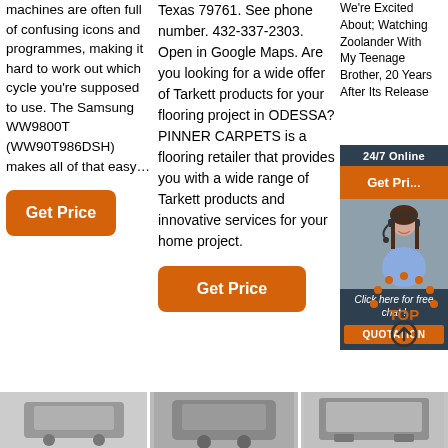machines are often full of confusing icons and programmes, making it hard to work out which cycle you're supposed to use. The Samsung WW9800T (WW90T986DSH) makes all of that easy…
[Figure (other): Orange 'Get Price' button in column 1]
Texas 79761. See phone number. 432-337-2303. Open in Google Maps. Are you looking for a wide offer of Tarkett products for your flooring project in ODESSA? PINNER CARPETS is a flooring retailer that provides you with a wide range of Tarkett products and innovative services for your home project.
[Figure (other): Orange 'Get Price' button in column 2]
We're Excited About; Watching Zoolander With My Teenage Brother, 20 Years After Its Release
[Figure (other): Online chat/quotation ad widget with '24/7 Online', 'Get Price', photo of woman with headset, 'Click here for free chat!', 'QUOTATION' button]
[Figure (other): TOP scroll-to-top icon with arrow circle]
[Figure (other): Three bottom thumbnail images of washing machines/appliances]